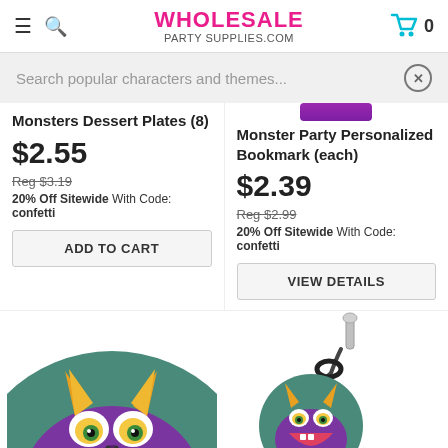WHOLESALE PARTY SUPPLIES.COM
Search popular characters and themes...
Monsters Dessert Plates (8)
$2.55
Reg $3.19
20% Off Sitewide With Code: confetti
Monster Party Personalized Bookmark (each)
$2.39
Reg $2.99
20% Off Sitewide With Code: confetti
[Figure (illustration): Circular monster character illustration - purple monster with horns, big eyes, and wide smile on teal background]
[Figure (illustration): Zipper charm with small circular monster character tag - purple monster on teal background]